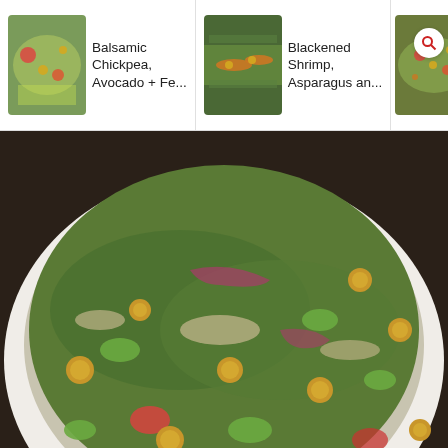[Figure (screenshot): App carousel showing three recipe thumbnails: Balsamic Chickpea, Avocado + Fe..., Blackened Shrimp, Asparagus an..., Loaded Gre... with search icon overlay]
[Figure (photo): Large photo of a bowl of chickpea tuna salad with cucumbers, tomatoes, red onion, and greens with Cafe Delites watermark and 12.9k counter]
No cooking or boiling or baking needed. Just grab tuna straight out of the can a
throw it in with the rest of your
ingredients